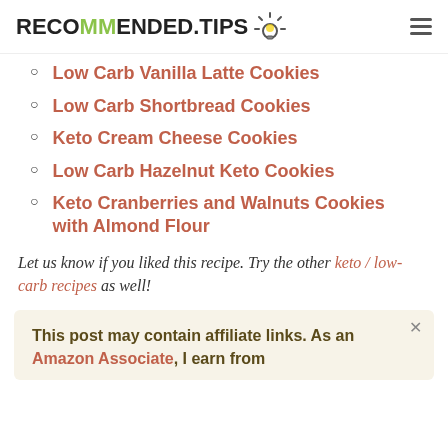RECOMMENDED.TIPS
Low Carb Vanilla Latte Cookies
Low Carb Shortbread Cookies
Keto Cream Cheese Cookies
Low Carb Hazelnut Keto Cookies
Keto Cranberries and Walnuts Cookies with Almond Flour
Let us know if you liked this recipe. Try the other keto / low-carb recipes as well!
This post may contain affiliate links. As an Amazon Associate, I earn from